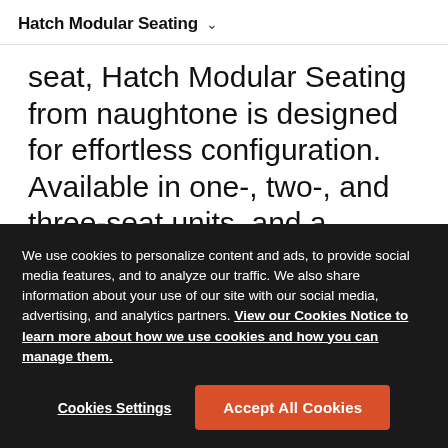Hatch Modular Seating
seat, Hatch Modular Seating from naughtone is designed for effortless configuration. Available in one-, two-, and three-seat units, and a choice of armless or with arms, Hatch has a firm, upright sit and compact dimensions that create comfortable
We use cookies to personalize content and ads, to provide social media features, and to analyze our traffic. We also share information about your use of our site with our social media, advertising, and analytics partners. View our Cookies Notice to learn more about how we use cookies and how you can manage them.
Cookies Settings | Accept All Cookies